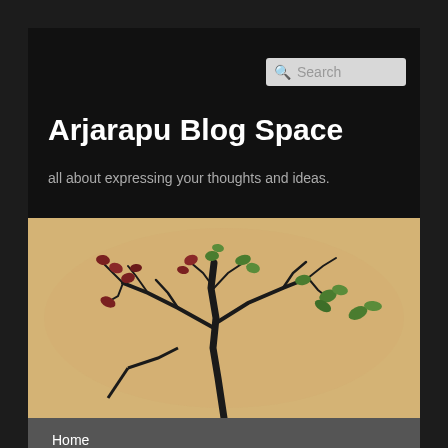Arjarapu Blog Space
all about expressing your thoughts and ideas.
[Figure (photo): Bonsai tree with dark twisted branches, green and reddish leaves against a warm beige/tan blurred background]
Home
TAG ARCHIVES: VISTA